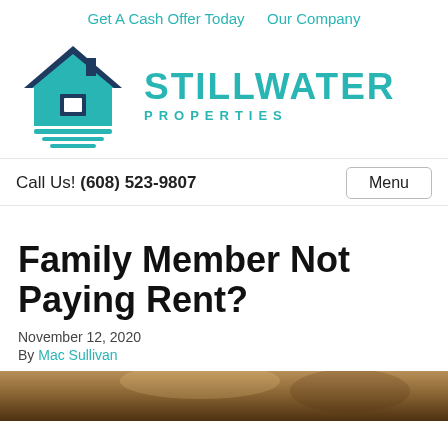Get A Cash Offer Today   Our Company
[Figure (logo): Stillwater Properties logo: teal house icon with dark navy roof and horizontal lines, next to bold teal text 'STILLWATER PROPERTIES']
Call Us! (608) 523-9807
Menu
Family Member Not Paying Rent?
November 12, 2020
By Mac Sullivan
[Figure (photo): Partial photo at bottom of page, showing what appears to be a person or indoor scene with warm brown tones]